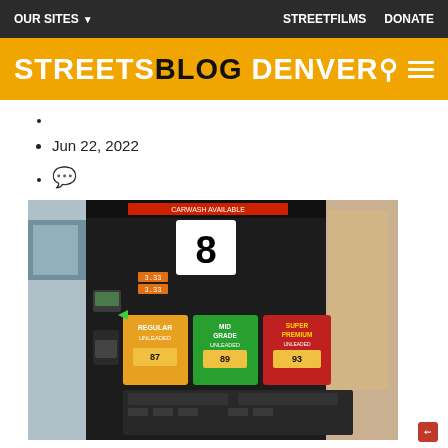OUR SITES  STREETFILMS  DONATE
STREETSBLOG DENVER
Jun 22, 2022
[comment icon]
[Figure (photo): Close-up photograph of a gas station pump showing pump number 8 with buttons for Regular (87), Mid Grade (89), and Super Premium (93) fuel grades on yellow, green, and red backgrounds respectively.]